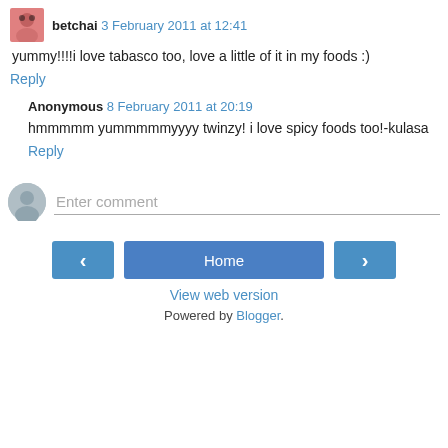betchai 3 February 2011 at 12:41
yummy!!!!i love tabasco too, love a little of it in my foods :)
Reply
Anonymous 8 February 2011 at 20:19
hmmmmm yummmmmyyyy twinzy! i love spicy foods too!-kulasa
Reply
Enter comment
Home
View web version
Powered by Blogger.